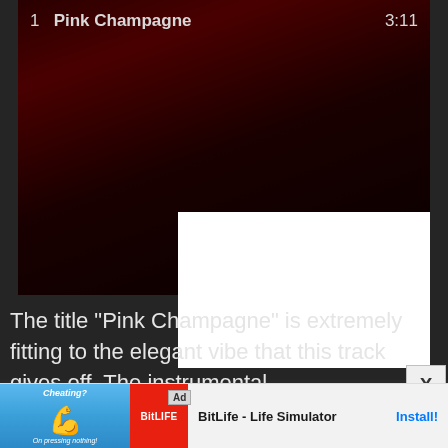[Figure (screenshot): Music streaming app interface showing track 1 'Pink Champagne' with duration 3:11, dark red/maroon album art background]
The title "Pink Champagne" is extremely fitting to the elegant vibe that this track gives off. The instrumental
[Figure (screenshot): Ad banner for BitLife - Life Simulator app with install button, showing cheating-themed graphic and BitLife logo on red background]